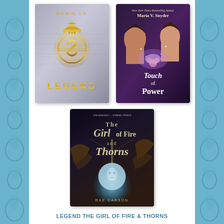[Figure (illustration): Book cover of 'Legend' by Marie Lu - silver/metallic background with gold winged emblem and golden text]
[Figure (illustration): Book cover of 'Touch of Power' by Maria V. Snyder - fantasy cover with woman and magical elements]
[Figure (illustration): Book cover of 'The Girl of Fire and Thorns' by Rae Carson - dark fantasy cover with glowing orb]
LEGEND THE GIRL OF FIRE & THORNS